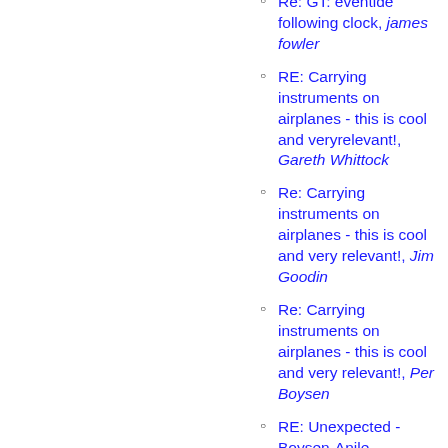Re: GT: eventide following clock, james fowler
RE: Carrying instruments on airplanes - this is cool and veryrelevant!, Gareth Whittock
Re: Carrying instruments on airplanes - this is cool and very relevant!, Jim Goodin
Re: Carrying instruments on airplanes - this is cool and very relevant!, Per Boysen
RE: Unexpected - Boysen-Anile collaborative album, ejyuhas
Re: Unexpected - Boysen-Anile collaborative album, Per Boysen